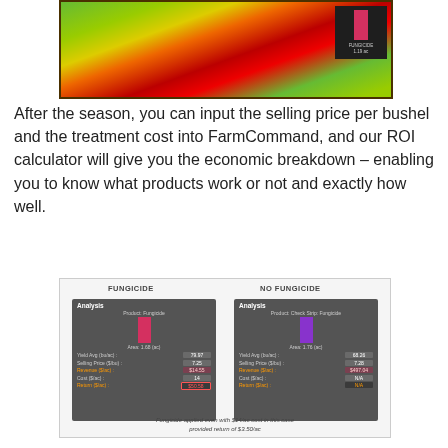[Figure (illustration): 3D aerial map of a farm field with color-coded zones (green, red, yellow) representing yield variation, with a small dark legend panel showing a pink/red bar labeled FUNGICIDE and a value of 1.19 ac]
After the season, you can input the selling price per bushel and the treatment cost into FarmCommand, and our ROI calculator will give you the economic breakdown – enabling you to know what products work or not and exactly how well.
[Figure (screenshot): Side-by-side FarmCommand analysis panels. Left panel labeled FUNGICIDE shows: Analysis, Product: Fungicide (pink/red bar), Area: 1.68 (ac), Yield Avg (bu/ac): 79.97, Selling Price ($/bu): 7.25, Revenue ($/ac): $14.55, Cost ($/ac): 14, Return ($/ac): $50.58. Right panel labeled NO FUNGICIDE shows: Analysis, Product: Check Strip: Fungicide (purple bar), Area: 1.76 (ac), Yield Avg (bu/ac): 68.26, Selling Price ($/bu): 7.28, Revenue ($/ac): $497.04, Cost ($/ac): N/A, Return ($/ac): N/A. Caption: Fungicide applied even with $14/ac cost in this case provided return of $3.50/ac]
Fungicide applied even with $14/ac cost in this case provided return of $3.50/ac